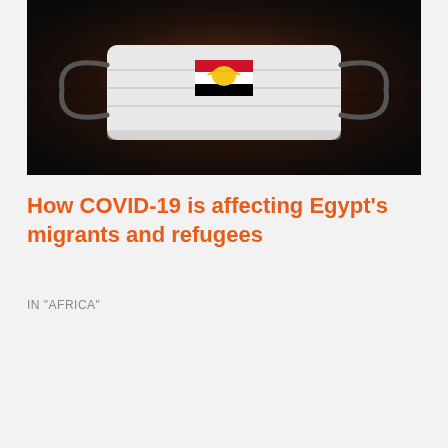[Figure (photo): A face mask lying on a dark wooden surface with the Egyptian flag emblem visible on it]
How COVID-19 is affecting Egypt's migrants and refugees
IN "AFRICA"